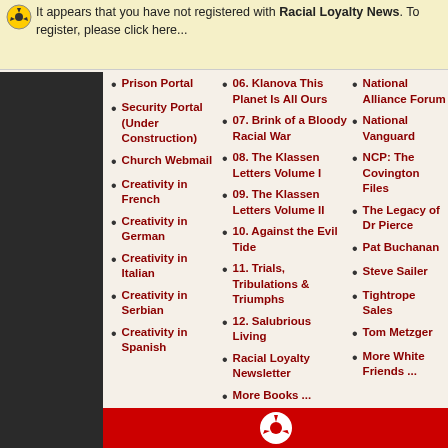It appears that you have not registered with Racial Loyalty News. To register, please click here...
Prison Portal
Security Portal (Under Construction)
Church Webmail
Creativity in French
Creativity in German
Creativity in Italian
Creativity in Serbian
Creativity in Spanish
06. Klanova This Planet Is All Ours
07. Brink of a Bloody Racial War
08. The Klassen Letters Volume I
09. The Klassen Letters Volume II
10. Against the Evil Tide
11. Trials, Tribulations & Triumphs
12. Salubrious Living
Racial Loyalty Newsletter
More Books ...
National Alliance Forum
National Vanguard
NCP: The Covington Files
The Legacy of Dr Pierce
Pat Buchanan
Steve Sailer
Tightrope Sales
Tom Metzger
More White Friends ...